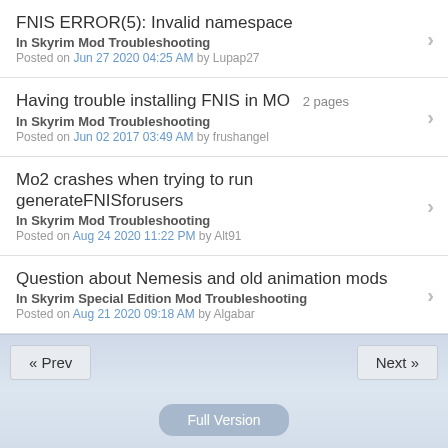FNIS ERROR(5): Invalid namespace
In Skyrim Mod Troubleshooting
Posted on Jun 27 2020 04:25 AM by Lupap27
Having trouble installing FNIS in MO  2 pages
In Skyrim Mod Troubleshooting
Posted on Jun 02 2017 03:49 AM by frushangel
Mo2 crashes when trying to run generateFNISforusers
In Skyrim Mod Troubleshooting
Posted on Aug 24 2020 11:22 PM by Alt91
Question about Nemesis and old animation mods
In Skyrim Special Edition Mod Troubleshooting
Posted on Aug 21 2020 09:18 AM by Algabar
« Prev
Next »
Full Version
Page loaded in: 2.144 seconds